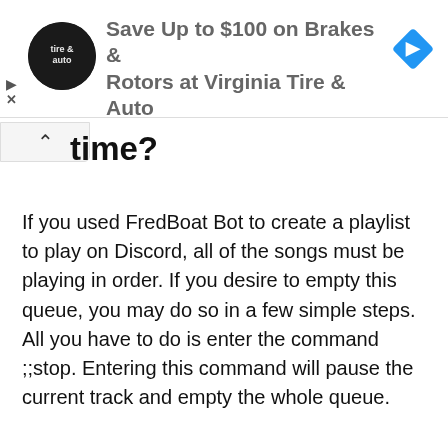[Figure (other): Advertisement banner for Virginia Tire & Auto showing logo and blue navigation diamond icon with text 'Save Up to $100 on Brakes & Rotors at Virginia Tire & Auto']
time?
If you used FredBoat Bot to create a playlist to play on Discord, all of the songs must be playing in order. If you desire to empty this queue, you may do so in a few simple steps. All you have to do is enter the command ;;stop. Entering this command will pause the current track and empty the whole queue.